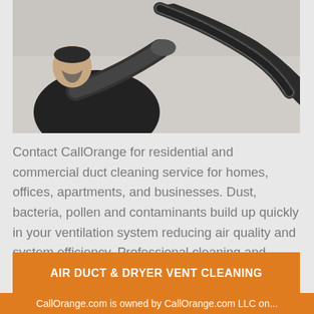[Figure (photo): A person wearing a black sleeveless shirt, gloves, and a headlamp, using a large flexible hose/vacuum tool on a ceiling or wall duct — air duct cleaning technician at work.]
Contact CallOrange for residential and commercial duct cleaning service for homes, offices, apartments, and businesses. Dust, bacteria, pollen and contaminants build up quickly in your ventilation system reducing air quality and system efficiency. Professional cleaning and maintenance can improve air quality, system efficiency and savings.
AIR DUCT & DRYER VENT CLEANING
CallOrange.com is owned by CallOrange.com LLC on...